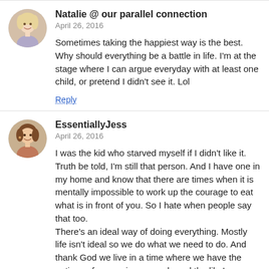[Figure (photo): Circular avatar photo of a blonde woman smiling]
Natalie @ our parallel connection
April 26, 2016
Sometimes taking the happiest way is the best. Why should everything be a battle in life. I'm at the stage where I can argue everyday with at least one child, or pretend I didn't see it. Lol
Reply
[Figure (photo): Circular avatar photo of a brunette woman smiling]
EssentiallyJess
April 26, 2016
I was the kid who starved myself if I didn't like it. Truth be told, I'm still that person. And I have one in my home and know that there are times when it is mentally impossible to work up the courage to eat what is in front of you. So I hate when people say that too.
There's an ideal way of doing everything. Mostly life isn't ideal so we do what we need to do. And thank God we live in a time where we have the options of convenience meals and the like!
Reply